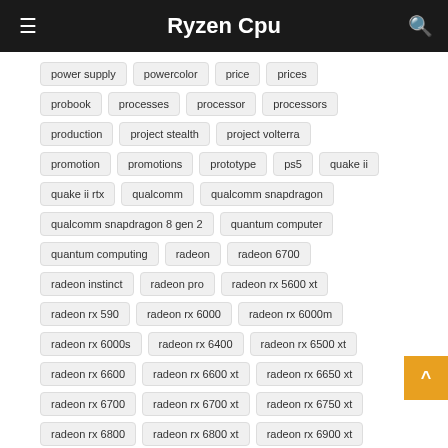Ryzen Cpu
power supply
powercolor
price
prices
probook
processes
processor
processors
production
project stealth
project volterra
promotion
promotions
prototype
ps5
quake ii
quake ii rtx
qualcomm
qualcomm snapdragon
qualcomm snapdragon 8 gen 2
quantum computer
quantum computing
radeon
radeon 6700
radeon instinct
radeon pro
radeon rx 5600 xt
radeon rx 590
radeon rx 6000
radeon rx 6000m
radeon rx 6000s
radeon rx 6400
radeon rx 6500 xt
radeon rx 6600
radeon rx 6600 xt
radeon rx 6650 xt
radeon rx 6700
radeon rx 6700 xt
radeon rx 6750 xt
radeon rx 6800
radeon rx 6800 xt
radeon rx 6900 xt